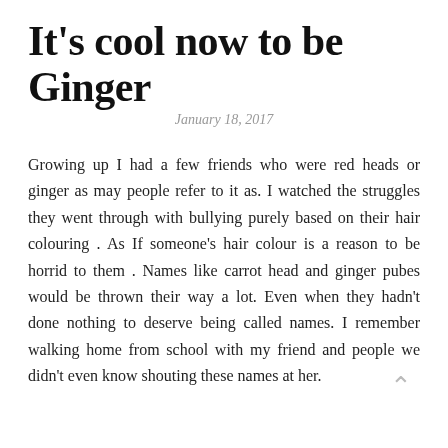It's cool now to be Ginger
January 18, 2017
Growing up I had a few friends who were red heads or ginger as may people refer to it as. I watched the struggles they went through with bullying purely based on their hair colouring . As If someone's hair colour is a reason to be horrid to them . Names like carrot head and ginger pubes would be thrown their way a lot. Even when they hadn't done nothing to deserve being called names. I remember walking home from school with my friend and people we didn't even know shouting these names at her.